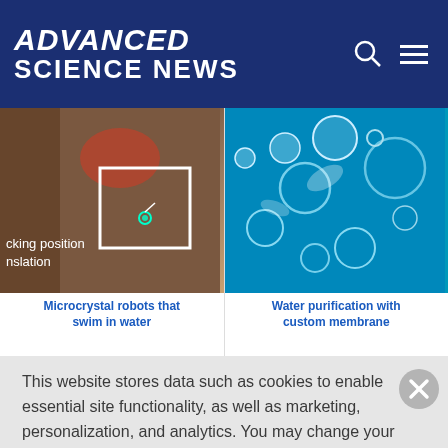ADVANCED SCIENCE NEWS
[Figure (photo): Photo of microcrystal robot with annotation 'cking position nslation']
[Figure (photo): Photo of water bubbles/purification]
Microcrystal robots that swim in water
Water purification with custom membrane
This website stores data such as cookies to enable essential site functionality, as well as marketing, personalization, and analytics. You may change your settings at any time or accept the default settings. You may close this banner to continue with only essential cookies. Privacy Policy
Manage Preferences
Accept All
Reject All